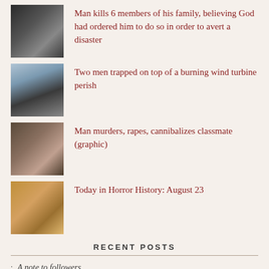Man kills 6 members of his family, believing God had ordered him to do so in order to avert a disaster
Two men trapped on top of a burning wind turbine perish
Man murders, rapes, cannibalizes classmate (graphic)
Today in Horror History: August 23
RECENT POSTS
A note to followers
Confessed serial killer executed